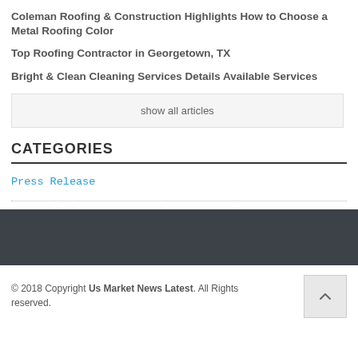Coleman Roofing & Construction Highlights How to Choose a Metal Roofing Color
Top Roofing Contractor in Georgetown, TX
Bright & Clean Cleaning Services Details Available Services
show all articles
CATEGORIES
Press Release
© 2018 Copyright Us Market News Latest. All Rights reserved.